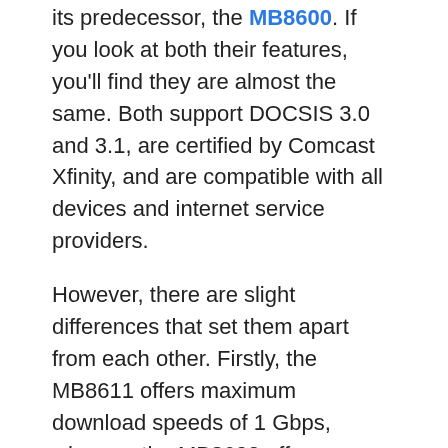its predecessor, the MB8600. If you look at both their features, you'll find they are almost the same. Both support DOCSIS 3.0 and 3.1, are certified by Comcast Xfinity, and are compatible with all devices and internet service providers.
However, there are slight differences that set them apart from each other. Firstly, the MB8611 offers maximum download speeds of 1 Gbps, whereas the MB8600 offers a max speed of around 6000 Mbps. This will hugely affect high-intensity online gaming, video streaming, and conferencing performances. Thus, the MB8611 is a winner here.
Secondly, the MB8611 offers a 2.5 Gbps Ethernet port, whereas the MB8600 has a 1 G...